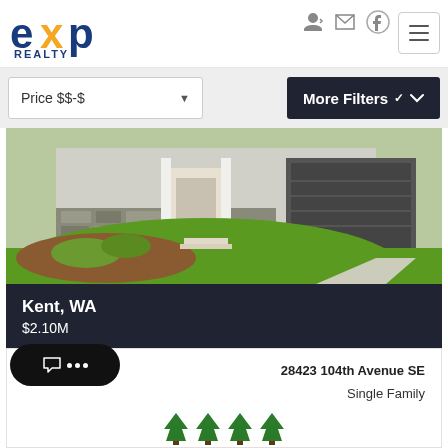[Figure (logo): eXp Realty logo with orange X and blue text]
Price $$-$
More Filters ▾
[Figure (photo): A modern single-family home exterior with stone facade, large garage, and green lawn landscaping]
Kent, WA
$2.10M
28423 104th Avenue SE
Single Family